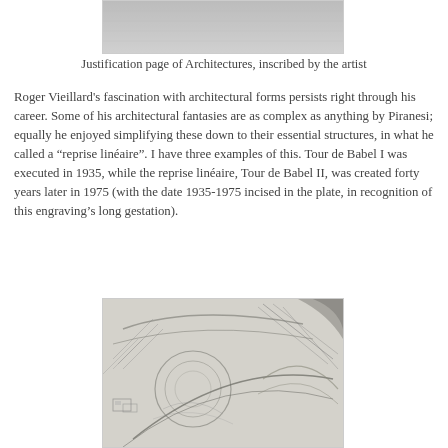[Figure (photo): Top portion of a justification page of Architectures, showing a gray/silver textured surface, inscribed by the artist. Image is cropped at the top.]
Justification page of Architectures, inscribed by the artist
Roger Vieillard's fascination with architectural forms persists right through his career. Some of his architectural fantasies are as complex as anything by Piranesi; equally he enjoyed simplifying these down to their essential structures, in what he called a “reprise linéaire”. I have three examples of this. Tour de Babel I was executed in 1935, while the reprise linéaire, Tour de Babel II, was created forty years later in 1975 (with the date 1935-1975 incised in the plate, in recognition of this engraving’s long gestation).
[Figure (illustration): A detailed engraving or drawing showing complex architectural and abstract forms, with circular and curved structural elements, hatching, and intricate line work suggesting a fantastical architectural scene.]